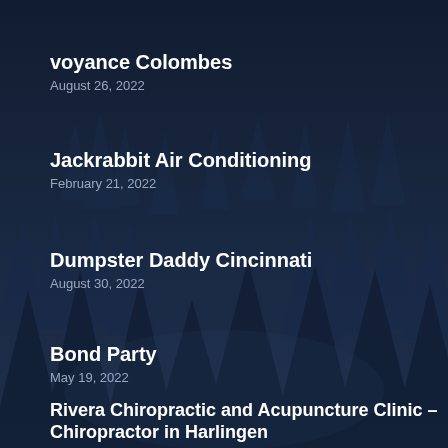voyance Colombes
August 26, 2022
Jackrabbit Air Conditioning
February 21, 2022
Dumpster Daddy Cincinnati
August 30, 2022
Bond Party
May 19, 2022
Rivera Chiropractic and Acupuncture Clinic – Chiropractor in Harlingen